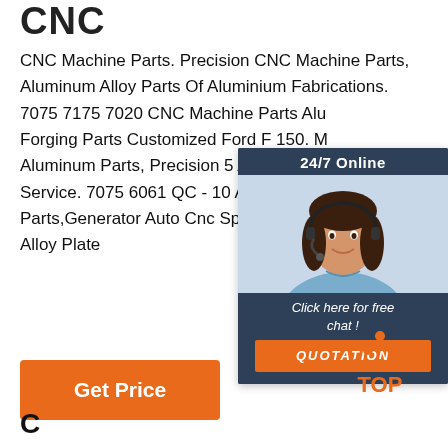CNC
CNC Machine Parts. Precision CNC Machine Parts, Aluminum Alloy Parts Of Aluminium Fabrications. 7075 7175 7020 CNC Machine Parts Aluminum Forging Parts Customized Ford F 150. M Aluminum Parts, Precision 5 Axis CNC M Service. 7075 6061 QC - 10 Aluminum A Parts,Generator Auto Cnc Spare Parts. A Alloy Plate
[Figure (photo): Live chat widget with a woman wearing a headset, '24/7 Online' header, 'Click here for free chat!' text, and QUOTATION button]
[Figure (logo): TOP icon with orange dots arranged in a triangle above the word TOP in orange]
Get Price
C